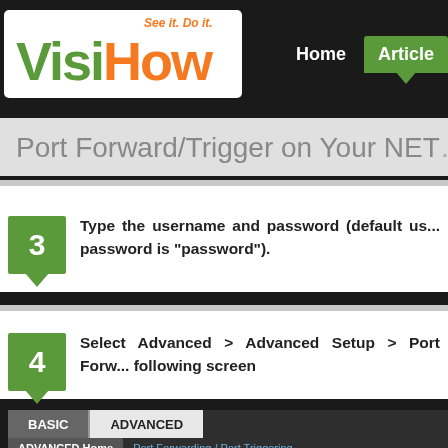[Figure (logo): VisiHow logo with tagline 'See it. Do it.' - Visi in green, How in orange]
Home   Articles
Port Forward/Trigger on Your NET...
3  Type the username and password (default us... password is "password").
4  Select Advanced > Advanced Setup > Port Forw... following screen
[Figure (screenshot): Router admin UI screenshot showing BASIC and ADVANCED tabs, with ADVANCED Home and Port Forwarding / Port Triggering menu items]